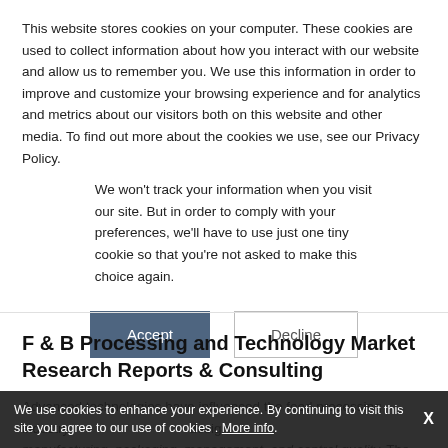This website stores cookies on your computer. These cookies are used to collect information about how you interact with our website and allow us to remember you. We use this information in order to improve and customize your browsing experience and for analytics and metrics about our visitors both on this website and other media. To find out more about the cookies we use, see our Privacy Policy.
We won't track your information when you visit our site. But in order to comply with your preferences, we'll have to use just one tiny cookie so that you're not asked to make this choice again.
Accept  Decline
F & B Processing and Technology Market Research Reports & Consulting
Advanced technologies have influenced the food processing industry in the areas of design, manufacturing, packaging, management, and control quality. The food and beverage processing technology has been deve ....see more
We use cookies to enhance your experience. By continuing to visit this site you agree to our use of cookies . More info.  X